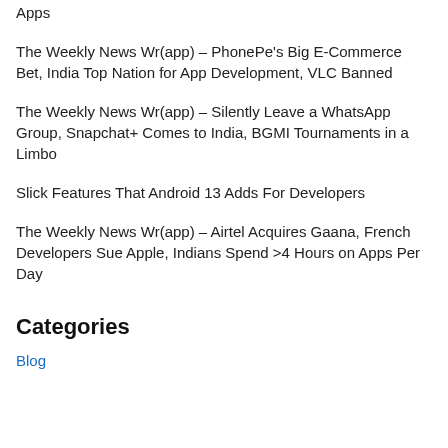Apps
The Weekly News Wr(app) – PhonePe's Big E-Commerce Bet, India Top Nation for App Development, VLC Banned
The Weekly News Wr(app) – Silently Leave a WhatsApp Group, Snapchat+ Comes to India, BGMI Tournaments in a Limbo
Slick Features That Android 13 Adds For Developers
The Weekly News Wr(app) – Airtel Acquires Gaana, French Developers Sue Apple, Indians Spend >4 Hours on Apps Per Day
Categories
Blog